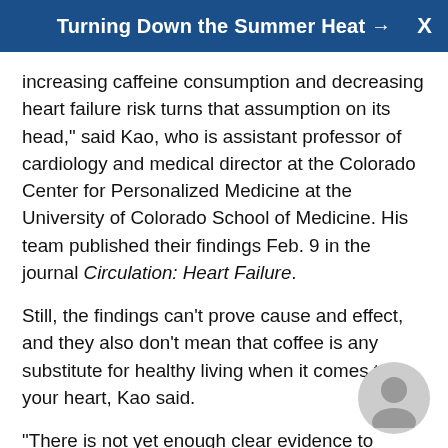Turning Down the Summer Heat →
increasing caffeine consumption and decreasing heart failure risk turns that assumption on its head," said Kao, who is assistant professor of cardiology and medical director at the Colorado Center for Personalized Medicine at the University of Colorado School of Medicine. His team published their findings Feb. 9 in the journal Circulation: Heart Failure.
Still, the findings can't prove cause and effect, and they also don't mean that coffee is any substitute for healthy living when it comes to your heart, Kao said.
"There is not yet enough clear evidence to recommend increasing coffee consumption to decrease risk of heart disease with the same strength and certainty as stopping smoking, losing weight or exercising," he said in a journal news release.